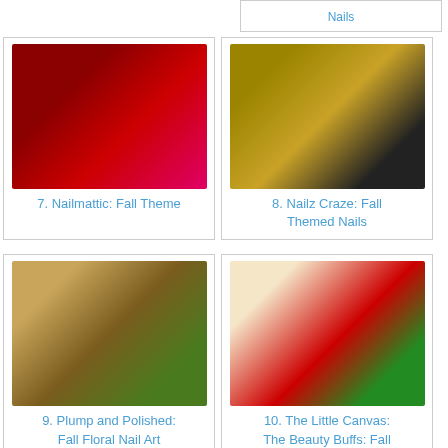Nails
[Figure (photo): Red nail polish on nails with pink geometric design and nail polish bottle]
7. Nailmattic: Fall Theme
[Figure (photo): Gold and black lace patterned nails with gold nail polish bottle]
8. Nailz Craze: Fall Themed Nails
[Figure (photo): Floral leopard print nail art with OPI gold nail polish bottle]
9. Plump and Polished: Fall Floral Nail Art
[Figure (photo): Apple-themed nail art with red apples on nude nails with nail polish bottle]
10. The Little Canvas: The Beauty Buffs: Fall Theme
[Figure (photo): Nude/pink nails partial view]
[Figure (photo): Halloween eye nail art on black background]